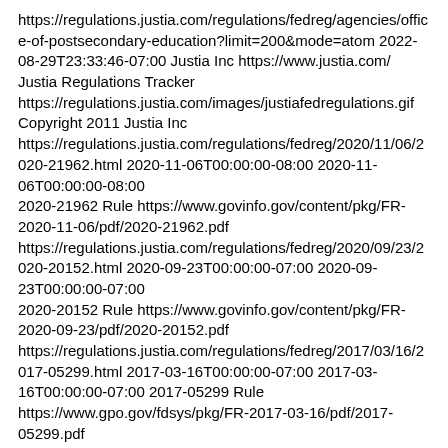https://regulations.justia.com/regulations/fedreg/agencies/office-of-postsecondary-education?limit=200&mode=atom 2022-08-29T23:33:46-07:00 Justia Inc https://www.justia.com/ Justia Regulations Tracker https://regulations.justia.com/images/justiafedregulations.gif Copyright 2011 Justia Inc https://regulations.justia.com/regulations/fedreg/2020/11/06/2020-21962.html 2020-11-06T00:00:00-08:00 2020-11-06T00:00:00-08:00 2020-21962 Rule https://www.govinfo.gov/content/pkg/FR-2020-11-06/pdf/2020-21962.pdf https://regulations.justia.com/regulations/fedreg/2020/09/23/2020-20152.html 2020-09-23T00:00:00-07:00 2020-09-23T00:00:00-07:00 2020-20152 Rule https://www.govinfo.gov/content/pkg/FR-2020-09-23/pdf/2020-20152.pdf https://regulations.justia.com/regulations/fedreg/2017/03/16/2017-05299.html 2017-03-16T00:00:00-07:00 2017-03-16T00:00:00-07:00 2017-05299 Rule https://www.gpo.gov/fdsys/pkg/FR-2017-03-16/pdf/2017-05299.pdf https://regulations.justia.com/regulations/fedreg/2016/10/14/2016-24893.html 2016-10-14T00:00:00-07:00 2016-10-14T00:00:00-07:00 2016-24893 Notice https://www.gpo.gov/fdsys/pkg/FR-2016-10-14/pdf/2016-24893.pdf